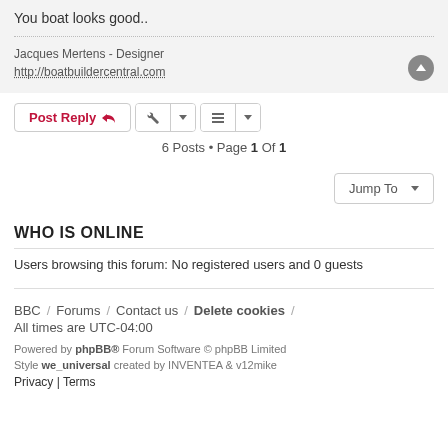You boat looks good..
Jacques Mertens - Designer
http://boatbuildercentral.com
Post Reply
6 Posts • Page 1 Of 1
Jump To
WHO IS ONLINE
Users browsing this forum: No registered users and 0 guests
BBC / Forums / Contact us / Delete cookies / All times are UTC-04:00
Powered by phpBB® Forum Software © phpBB Limited
Style we_universal created by INVENTEA & v12mike
Privacy | Terms